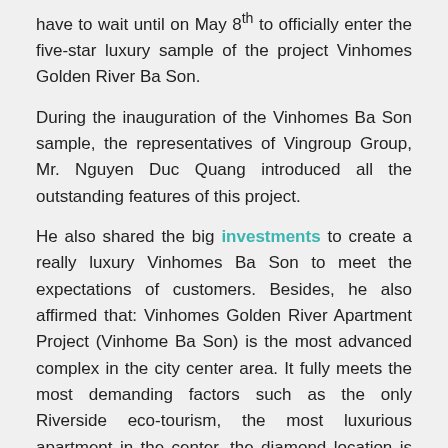have to wait until on May 8th to officially enter the five-star luxury sample of the project Vinhomes Golden River Ba Son.
During the inauguration of the Vinhomes Ba Son sample, the representatives of Vingroup Group, Mr. Nguyen Duc Quang introduced all the outstanding features of this project.
He also shared the big investments to create a really luxury Vinhomes Ba Son to meet the expectations of customers. Besides, he also affirmed that: Vinhomes Golden River Apartment Project (Vinhome Ba Son) is the most advanced complex in the city center area. It fully meets the most demanding factors such as the only Riverside eco-tourism, the most luxurious apartment in the center, the diamond location is favorable …
During the grand opening ceremony of the Vinhomes Ba Son samples, customers will also receive valuable gifts from investors such as Samsung 32in TV, Smart 3D LED 78in TV, Ipad Air 2…
At the Vinhomes Ba Son project, the apartments are designed flexible ranging from 45 – 160sqm, from 1-4 luxury bedrooms with 4